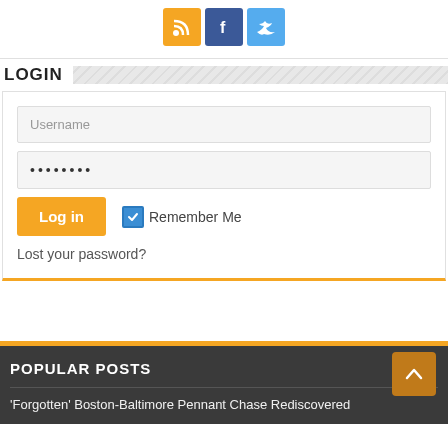[Figure (infographic): Social media icon buttons: RSS (orange), Facebook (blue), Twitter (light blue)]
LOGIN
[Figure (screenshot): Login form with Username field, password field with dots, Log in button (orange), Remember Me checkbox (checked), and Lost your password? link]
POPULAR POSTS
'Forgotten' Boston-Baltimore Pennant Chase Rediscovered